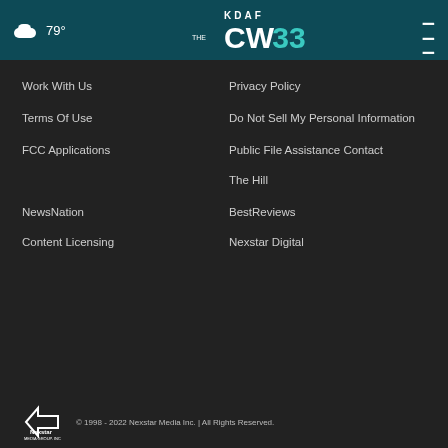79° KDAF CW33
Work With Us
Privacy Policy
Terms Of Use
Do Not Sell My Personal Information
FCC Applications
Public File Assistance Contact
The Hill
NewsNation
BestReviews
Content Licensing
Nexstar Digital
© 1998 - 2022 Nexstar Media Inc. | All Rights Reserved.